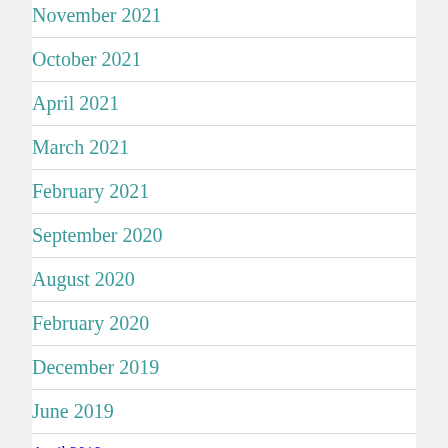November 2021
October 2021
April 2021
March 2021
February 2021
September 2020
August 2020
February 2020
December 2019
June 2019
April 2019